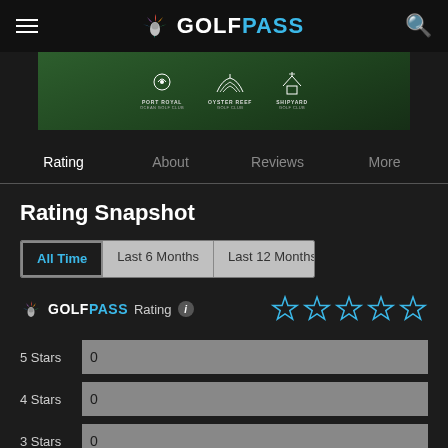GOLFPASS
[Figure (screenshot): Golf course banner image showing Port Royal, Oyster Reef Golf Club, and Shipyard Golf Club logos on a green background]
Rating   About   Reviews   More
Rating Snapshot
All Time   Last 6 Months   Last 12 Months
GOLFPASS Rating (i)   ☆☆☆☆☆
| Stars | Count |
| --- | --- |
| 5 Stars | 0 |
| 4 Stars | 0 |
| 3 Stars | 0 |